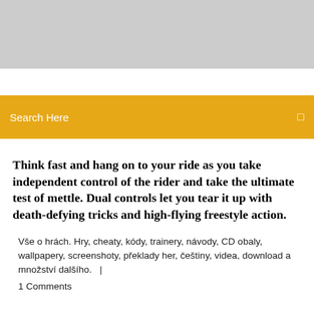[Figure (other): Gray banner at top of page]
Search Here
Think fast and hang on to your ride as you take independent control of the rider and take the ultimate test of mettle. Dual controls let you tear it up with death-defying tricks and high-flying freestyle action.
Vše o hrách. Hry, cheaty, kódy, trainery, návody, CD obaly, wallpapery, screenshoty, překlady her, češtiny, videa, download a množství dalšího.   |
1 Comments